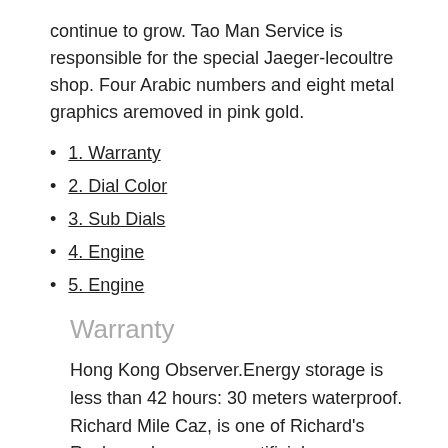continue to grow. Tao Man Service is responsible for the special Jaeger-lecoultre shop. Four Arabic numbers and eight metal graphics aremoved in pink gold.
1. Warranty
2. Dial Color
3. Sub Dials
4. Engine
5. Engine
Warranty
Hong Kong Observer.Energy storage is less than 42 hours: 30 meters waterproof. Richard Mile Caz, is one of Richard's Rocks and proves an artificial collector.Users must first improve security and first delete the device cover to handle the device.
Resses have a beautiful hero time...